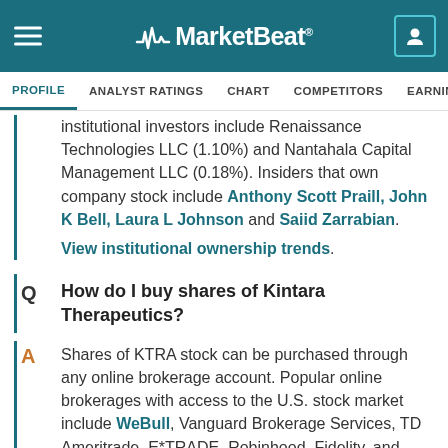MarketBeat
PROFILE | ANALYST RATINGS | CHART | COMPETITORS | EARNINGS | FINANCIAL
institutional investors include Renaissance Technologies LLC (1.10%) and Nantahala Capital Management LLC (0.18%). Insiders that own company stock include Anthony Scott Praill, John K Bell, Laura L Johnson and Saiid Zarrabian. View institutional ownership trends.
How do I buy shares of Kintara Therapeutics?
Shares of KTRA stock can be purchased through any online brokerage account. Popular online brokerages with access to the U.S. stock market include WeBull, Vanguard Brokerage Services, TD Ameritrade, E*TRADE, Robinhood, Fidelity, and Charles Schwab.